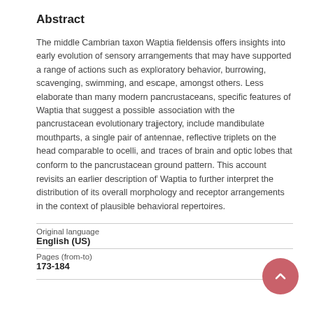Abstract
The middle Cambrian taxon Waptia fieldensis offers insights into early evolution of sensory arrangements that may have supported a range of actions such as exploratory behavior, burrowing, scavenging, swimming, and escape, amongst others. Less elaborate than many modern pancrustaceans, specific features of Waptia that suggest a possible association with the pancrustacean evolutionary trajectory, include mandibulate mouthparts, a single pair of antennae, reflective triplets on the head comparable to ocelli, and traces of brain and optic lobes that conform to the pancrustacean ground pattern. This account revisits an earlier description of Waptia to further interpret the distribution of its overall morphology and receptor arrangements in the context of plausible behavioral repertoires.
| Original language |  |
| English (US) |  |
| Pages (from-to) |  |
| 173-184 |  |